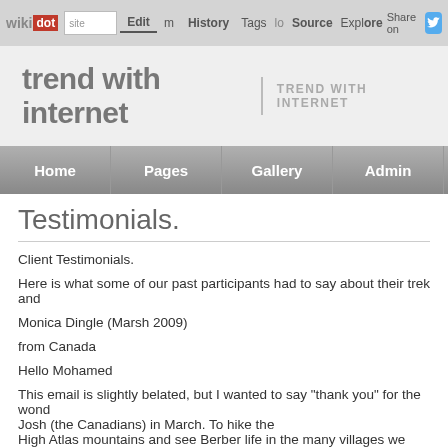wikidot | site | Edit | History | Tags | Source | Explore | Share on [Twitter]
trend with internet | TREND WITH INTERNET
Home | Pages | Gallery | Admin | Help
Testimonials.
Client Testimonials.
Here is what some of our past participants had to say about their trek and
Monica Dingle (Marsh 2009)
from Canada
Hello Mohamed
This email is slightly belated, but I wanted to say "thank you" for the wond Josh (the Canadians) in March. To hike the High Atlas mountains and see Berber life in the many villages we passed
I also very much enjoyed the time that Josh and I spent with your family. Y and I fell in love with your beautiful children! I have attached two photos o